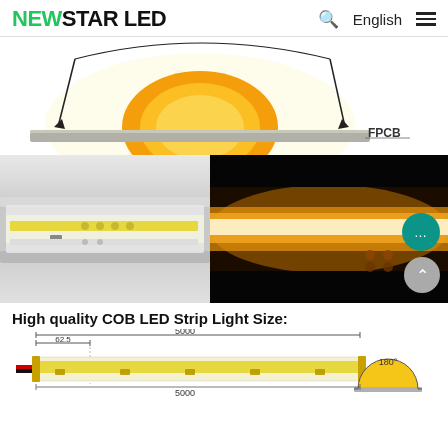NEWSTAR LED  🔍 English ☰
[Figure (engineering-diagram): COB LED strip light cross-section diagram showing light emission pattern (semicircular yellow glow with arrows indicating wide beam) on FPCB substrate, with label 'FPCB']
[Figure (photo): Two photos of COB LED strip light: left photo shows strip in aluminum channel (off/white light), right photo shows strip glowing warm golden light in dark background]
High quality COB LED Strip Light Size:
[Figure (engineering-diagram): Technical dimension drawing of COB LED strip light showing total length 5000mm, segment length 62.5mm, with wire leads on left end and LED components along strip. Also shows 180° beam angle diagram with semicircular yellow element on flat base.]